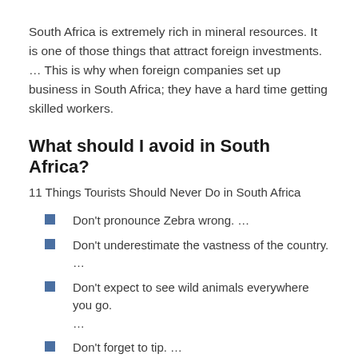South Africa is extremely rich in mineral resources. It is one of those things that attract foreign investments. … This is why when foreign companies set up business in South Africa; they have a hard time getting skilled workers.
What should I avoid in South Africa?
11 Things Tourists Should Never Do in South Africa
Don't pronounce Zebra wrong. …
Don't underestimate the vastness of the country. …
Don't expect to see wild animals everywhere you go. …
Don't forget to tip. …
Don't flash expensive electronics and jewellery. …
Don't feed or touch the animals. …
Don't be surprised when a petrol attendant insists on